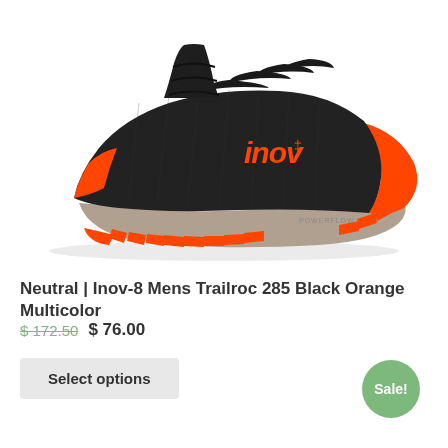[Figure (photo): Inov-8 Mens Trailroc 285 running shoe in black and orange colorway, side profile view showing the mesh upper, orange branding, and gray/orange outsole with POWERFLOW text]
Neutral | Inov-8 Mens Trailroc 285 Black Orange Multicolor
$ 172.50   $ 76.00
Select options
Sale!